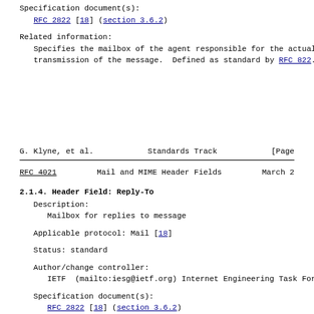Specification document(s):
    RFC 2822 [18] (section 3.6.2)
Related information:
    Specifies the mailbox of the agent responsible for the actual
    transmission of the message.  Defined as standard by RFC 822.
G. Klyne, et al.          Standards Track                    [Page
RFC 4021              Mail and MIME Header Fields            March 2
2.1.4.  Header Field: Reply-To
Description:
    Mailbox for replies to message
Applicable protocol: Mail [18]
Status: standard
Author/change controller:
    IETF  (mailto:iesg@ietf.org) Internet Engineering Task Force
Specification document(s):
    RFC 2822 [18] (section 3.6.2)
Related information: